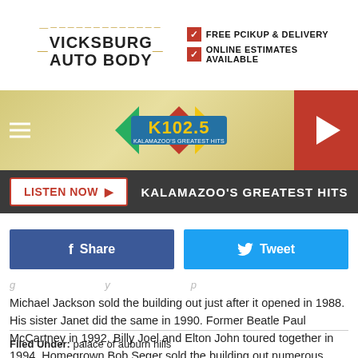[Figure (advertisement): Vicksburg Auto Body ad with logo, free pickup & delivery, online estimates available]
[Figure (logo): K102.5 Kalamazoo's Greatest Hits radio station logo with navigation bar, hamburger menu, and play button]
LISTEN NOW ► KALAMAZOO'S GREATEST HITS
[Figure (infographic): Facebook Share button and Twitter Tweet button]
Michael Jackson sold the building out just after it opened in 1988. His sister Janet did the same in 1990. Former Beatle Paul McCartney in 1992. Billy Joel and Elton John toured together in 1994. Homegrown Bob Seger sold the building out numerous times and did the arena's last show in 2017.
Filed Under: palace of auburn hills